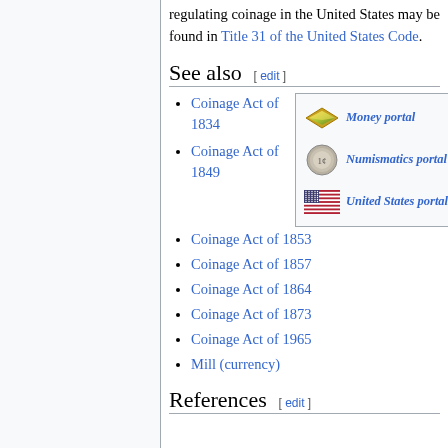regulating coinage in the United States may be found in Title 31 of the United States Code.
See also [ edit ]
Coinage Act of 1834
[Figure (infographic): Portal box with three rows: Money portal (with green diamond icon), Numismatics portal (with coin icon), United States portal (with US flag icon)]
Coinage Act of 1849
Coinage Act of 1853
Coinage Act of 1857
Coinage Act of 1864
Coinage Act of 1873
Coinage Act of 1965
Mill (currency)
References [ edit ]